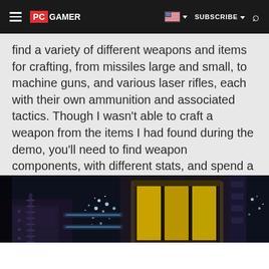PC GAMER — SUBSCRIBE
find a variety of different weapons and items for crafting, from missiles large and small, to machine guns, and various laser rifles, each with their own ammunition and associated tactics. Though I wasn't able to craft a weapon from the items I had found during the demo, you'll need to find weapon components, with different stats, and spend a found resource called nanites to combine them.
[Figure (screenshot): Dark sci-fi game screenshot showing industrial interior with metallic structures, glowing yellow panels, and blue/white particle effects in a dim space environment.]